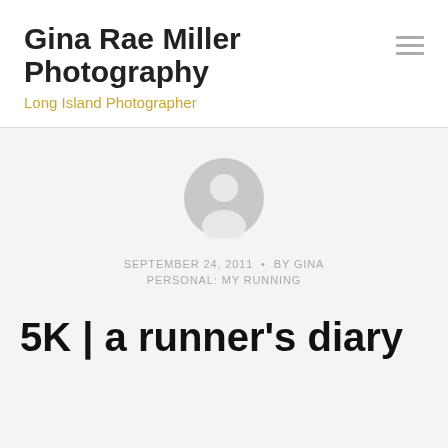Gina Rae Miller Photography
Long Island Photographer
[Figure (illustration): Generic user avatar icon — a grey circle with a white silhouette of a person (head and shoulders)]
SEPTEMBER 24, 2011  •  BY GINA
PERSONAL: MY RUNNING
5K | a runner's diary